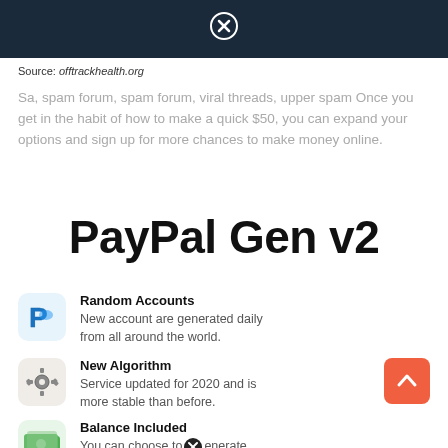[Figure (screenshot): Dark blue banner at top of page with close (X) circle icon in center]
Source: offtrackhealth.org
Sa, spam forum, spam forum, viral threads, upper spam Once you get in the habit of how to make a quick $50, you can expand your options and sign up for more chances to make money online.
PayPal Gen v2
Random Accounts — New account are generated daily from all around the world.
New Algorithm — Service updated for 2020 and is more stable than before.
Balance Included — You can choose to generate